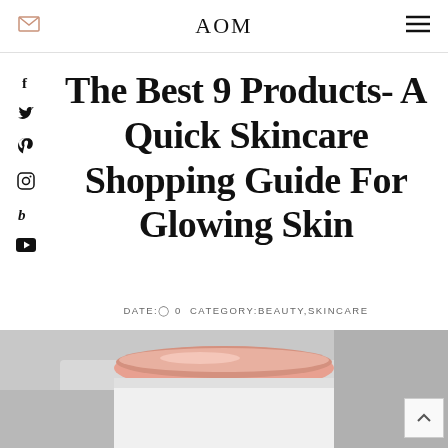AOM
The Best 9 Products- A Quick Skincare Shopping Guide For Glowing Skin
DATE: 0 CATEGORY:BEAUTY,SKINCARE
[Figure (photo): Bottom portion of a skincare product with rose gold/pink metallic lid on a light grey background]